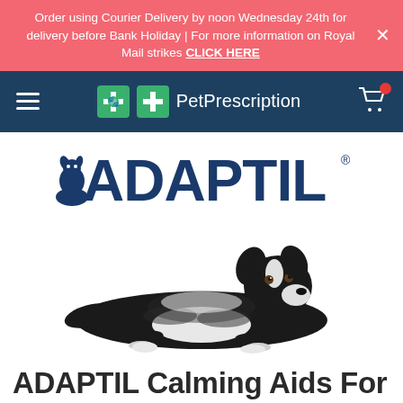Order using Courier Delivery by noon Wednesday 24th for delivery before Bank Holiday | For more information on Royal Mail strikes CLICK HERE
[Figure (logo): PetPrescription navigation bar with hamburger menu, green cross logo, PetPrescription text, and shopping cart icon]
[Figure (logo): ADAPTIL brand logo with blue dog silhouette and ADAPTIL text in dark blue]
[Figure (photo): Black and white Border Collie dog lying down on white background, looking upward]
ADAPTIL Calming Aids For Dogs And Puppies